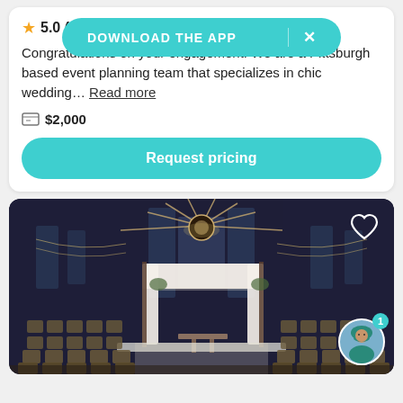5.0 (6...
DOWNLOAD THE APP
Congratulations on your engagement! We are a Pittsburgh based event planning team that specializes in chic wedding… Read more
$2,000
Request pricing
[Figure (photo): Interior of an elegant wedding venue with a white fabric chuppah/arch in the center, rows of chairs on either side, dark walls with tall windows, decorative chandelier overhead and string lights. An avatar of a woman in teal is visible in the bottom right corner with a notification badge showing '1'.]